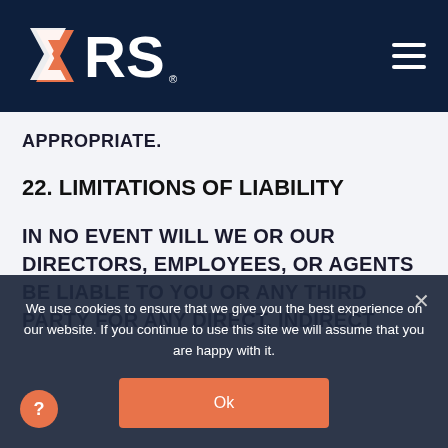[Figure (logo): CRS company logo in white and orange on navy background, with hamburger menu icon on the right]
APPROPRIATE.
22. LIMITATIONS OF LIABILITY
IN NO EVENT WILL WE OR OUR DIRECTORS, EMPLOYEES, OR AGENTS BE LIABLE TO YOU OR ANY THIRD PARTY FOR ANY DIRECT, INDIRECT
We use cookies to ensure that we give you the best experience on our website. If you continue to use this site we will assume that you are happy with it.